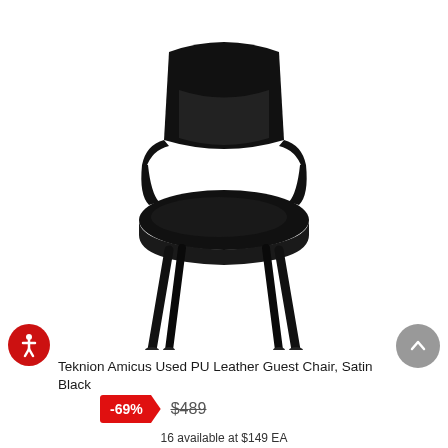[Figure (photo): Black Teknion Amicus guest chair with PU leather upholstery, armrests, and four black legs, shown at a slight angle on a white background.]
Teknion Amicus Used PU Leather Guest Chair, Satin Black
-69%  $489
16 available at $149 EA